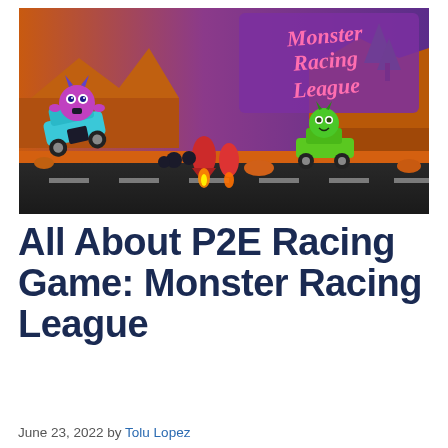[Figure (illustration): Monster Racing League promotional banner image showing cartoon monster characters racing in vehicles on an orange rocky terrain track. A purple horned monster drives a blue vehicle on the left, a green monster character rides a green vehicle on the right, with rockets and explosions in the middle. Purple background with 'Monster Racing League' text in stylized script on the right side.]
All About P2E Racing Game: Monster Racing League
June 23, 2022 by Tolu Lopez